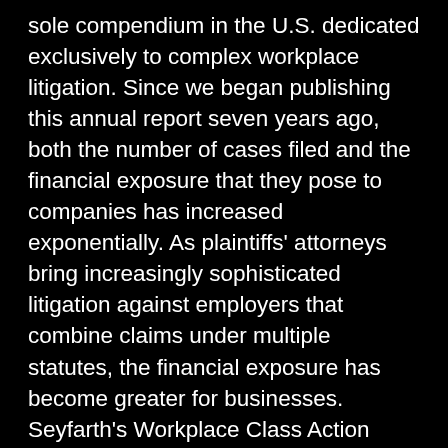sole compendium in the U.S. dedicated exclusively to complex workplace litigation. Since we began publishing this annual report seven years ago, both the number of cases filed and the financial exposure that they pose to companies has increased exponentially. As plaintiffs' attorneys bring increasingly sophisticated litigation against employers that combine claims under multiple statutes, the financial exposure has become greater for businesses. Seyfarth's Workplace Class Action Litigation Report has become the trusted “go-to” reference guide to explain the latest trends in complex employment litigation. Given the enormous financial stakes, pro-active planning and legal compliance programs — to get ahead of these litigation risks — are critically important for businesses. Our Blog is designed to keep Corporate America informed of the latest trends and cutting-edge developments relative to the various forms of challenges employers face, including employment